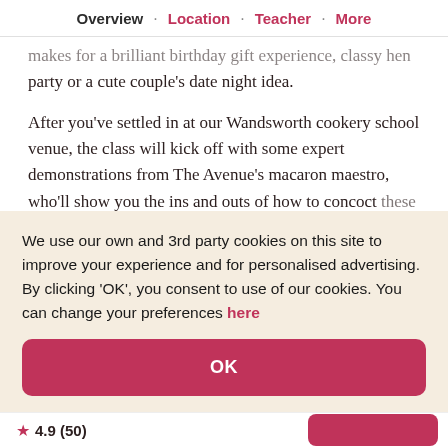Overview · Location · Teacher · More
makes for a brilliant birthday gift experience, classy hen party or a cute couple's date night idea.
After you've settled in at our Wandsworth cookery school venue, the class will kick off with some expert demonstrations from The Avenue's macaron maestro, who'll show you the ins and outs of how to concoct these impressive beauties for yourself.
We use our own and 3rd party cookies on this site to improve your experience and for personalised advertising. By clicking 'OK', you consent to use of our cookies. You can change your preferences here
OK
★ 4.9 (50)